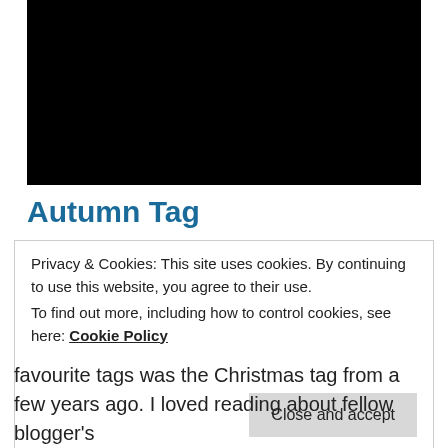[Figure (photo): Large black rectangular image area at top of page]
Autumn Tag
Privacy & Cookies: This site uses cookies. By continuing to use this website, you agree to their use.
To find out more, including how to control cookies, see here: Cookie Policy
Close and accept
favourite tags was the Christmas tag from a few years ago. I loved reading about fellow blogger's